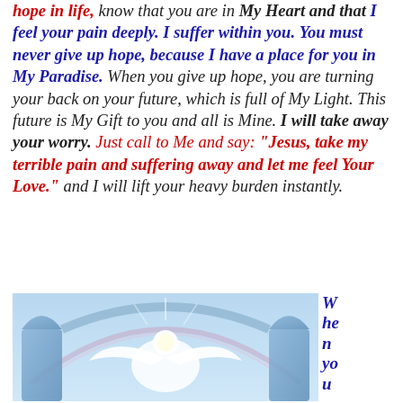hope in life, know that you are in My Heart and that I feel your pain deeply. I suffer within you. You must never give up hope, because I have a place for you in My Paradise. When you give up hope, you are turning your back on your future, which is full of My Light. This future is My Gift to you and all is Mine. I will take away your worry. Just call to Me and say: "Jesus, take my terrible pain and suffering away and let me feel Your Love." and I will lift your heavy burden instantly.
[Figure (illustration): An illustration of an angel with white wings in a heavenly archway with blue and light tones.]
When you